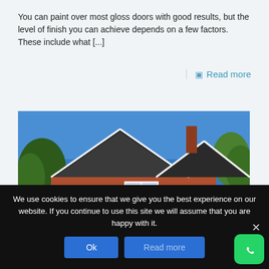You can paint over most gloss doors with good results, but the level of finish you can achieve depends on a few factors. These include what [...]
Read more
[Figure (photo): Exterior photo of a red brick house with dark slate roof, white window frames, and a small balcony, under a clear blue sky with trees in the background.]
We use cookies to ensure that we give you the best experience on our website. If you continue to use this site we will assume that you are happy with it.